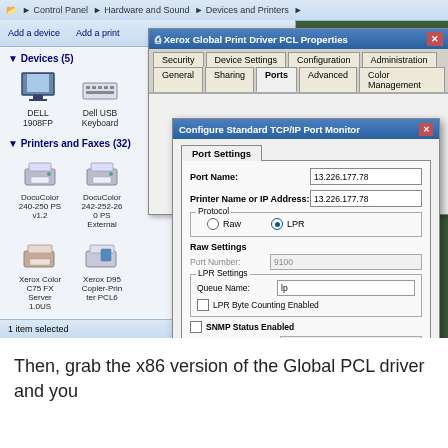[Figure (screenshot): Windows 7 screenshot showing Devices and Printers window in background, with Xerox Global Print Driver PCL Properties dialog open, and Configure Standard TCP/IP Port Monitor dialog on top. Shows Port Settings tab with Port Name: 13.226.177.78, Printer Name or IP Address: 13.226.177.78, Protocol: LPR selected, Raw Settings Port Number: 9100, LPR Settings Queue Name: lp, LPR Byte Counting Enabled checkbox, SNMP Status Enabled checkbox, Community Name: public, SNMP Device Index: 1, OK and Cancel buttons.]
Then, grab the x86 version of the Global PCL driver and you